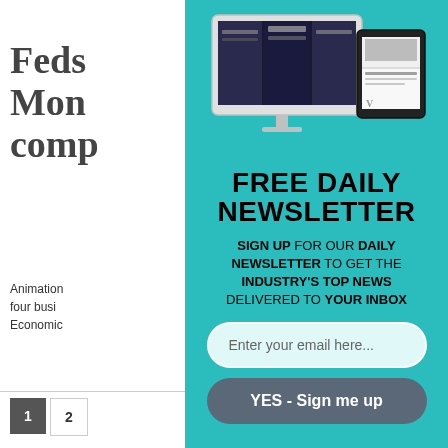Feds Mon comp
Animation four busi Economic
Egoy Toro
The dram Film Farm
[Figure (screenshot): A desktop iMac and a tablet device showing website/publication pages on their screens, displayed on a teal background.]
FREE DAILY NEWSLETTER
SIGN UP FOR OUR DAILY NEWSLETTER TO GET THE INDUSTRY'S TOP NEWS DELIVERED TO YOUR INBOX
Enter your email here...
YES - Sign me up
1
2